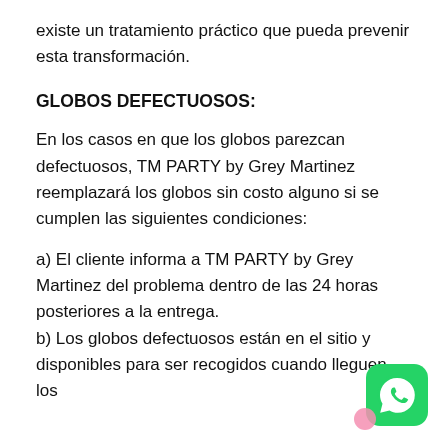existe un tratamiento práctico que pueda prevenir esta transformación.
GLOBOS DEFECTUOSOS:
En los casos en que los globos parezcan defectuosos, TM PARTY by Grey Martinez reemplazará los globos sin costo alguno si se cumplen las siguientes condiciones:
a) El cliente informa a TM PARTY by Grey Martinez del problema dentro de las 24 horas posteriores a la entrega.
b) Los globos defectuosos están en el sitio y disponibles para ser recogidos cuando lleguen los